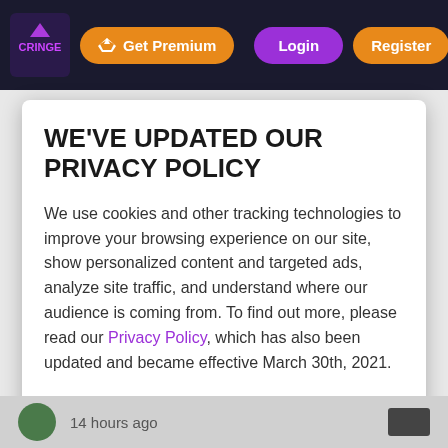Get Premium | Login | Register
WE'VE UPDATED OUR PRIVACY POLICY
We use cookies and other tracking technologies to improve your browsing experience on our site, show personalized content and targeted ads, analyze site traffic, and understand where our audience is coming from. To find out more, please read our Privacy Policy, which has also been updated and became effective March 30th, 2021.
By choosing "I Accept", you consent to our privacy policy, our use of cookies and other tracking technologies.
I Accept